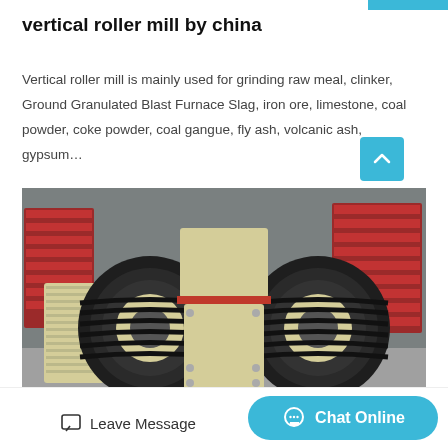vertical roller mill by china
Vertical roller mill is mainly used for grinding raw meal, clinker, Ground Granulated Blast Furnace Slag, iron ore, limestone, coal powder, coke powder, coal gangue, fly ash, volcanic ash, gypsum…
[Figure (photo): Photo of an industrial jaw crusher / roller mill machine with large black belt-drive wheels and a cream/yellow metal frame, stored in a warehouse with red stacked molds in the background.]
Leave Message   Chat Online